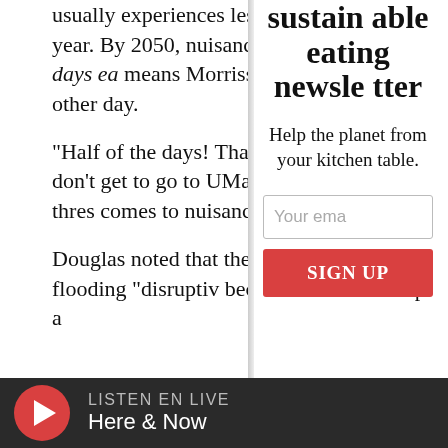usually experiences less than 15 days flooding each year. By 2050, nuisance may occur on roughly half the days ea means Morrissey Boulevard could be every other day.
"Half of the days! That's a lot. That m other day we don't get to go to UMass said Douglas. "We've crossed a thres comes to nuisance flooding."
Douglas noted that there's a moveme calling nuisance flooding "disruptiv because of serious impacts to traffic a
sustainable eating newsletter
Help the planet from your kitchen table.
Your ema
SIGN UP
LISTEN EN LIVE
Here & Now